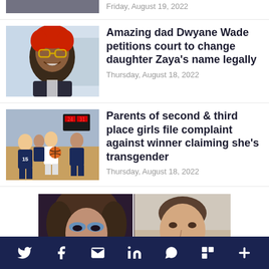[Figure (photo): Partial top image of a person, cropped at top of page]
Friday, August 19, 2022
[Figure (photo): Portrait of a young person with red hair and glasses, smiling]
Amazing dad Dwyane Wade petitions court to change daughter Zaya's name legally
Thursday, August 18, 2022
[Figure (photo): Girls basketball game scene with players in navy uniforms, number 15 visible]
Parents of second & third place girls file complaint against winner claiming she's transgender
Thursday, August 18, 2022
[Figure (photo): Side-by-side photos: left shows a person with dramatic makeup and curly hair, right shows a man with short hair smiling]
Social share bar with Twitter, Facebook, Email, LinkedIn, WhatsApp, Flipboard, More icons